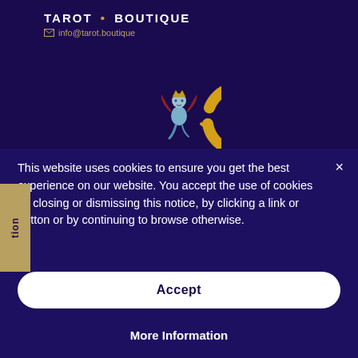TAROT . BOUTIQUE
info@tarot.boutique
[Figure (logo): Tarot Boutique logo: a golden letter C with a mythological figure (sphinx/angel) inside, wearing a crown, in blue tones against a dark purple background]
[Figure (infographic): Row of 5 small country flag icons (French, German, UK, Italian, Portuguese flags)]
This website uses cookies to ensure you get the best experience on our website. You accept the use of cookies by closing or dismissing this notice, by clicking a link or button or by continuing to browse otherwise.
Accept
More Information